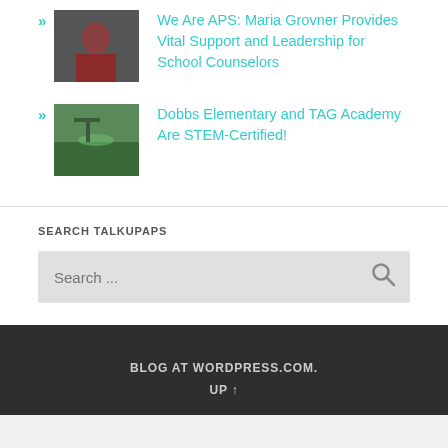We Are APS: Maria Grovner Provides Vital Support and Leadership for School Counselors
Dobbs Elementary and TAG Academy Are STEM-Certified!
SEARCH TALKUPAPS
Search ...
BLOG AT WORDPRESS.COM.
UP ↑